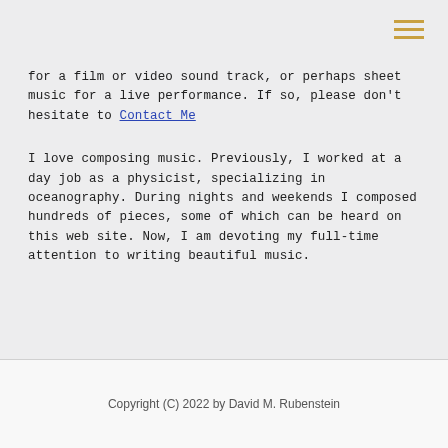[hamburger menu icon]
for a film or video sound track, or perhaps sheet music for a live performance. If so, please don't hesitate to Contact Me
I love composing music. Previously, I worked at a day job as a physicist, specializing in oceanography. During nights and weekends I composed hundreds of pieces, some of which can be heard on this web site. Now, I am devoting my full-time attention to writing beautiful music.
Copyright (C) 2022 by David M. Rubenstein